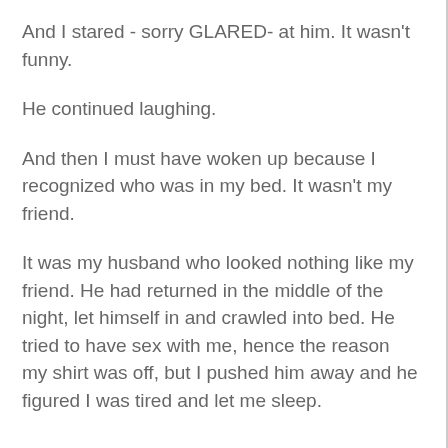And I stared - sorry GLARED- at him. It wasn't funny.
He continued laughing.
And then I must have woken up because I recognized who was in my bed. It wasn't my friend.
It was my husband who looked nothing like my friend. He had returned in the middle of the night, let himself in and crawled into bed. He tried to have sex with me, hence the reason my shirt was off, but I pushed him away and he figured I was tired and let me sleep.